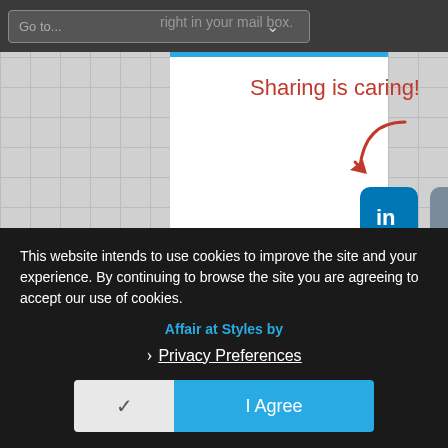[Figure (screenshot): Navigation bar with Go to... dropdown and watermark text 'right in your mail box.']
[Figure (illustration): Sharing is caring! handwritten red text with arrow pointing to social share icons: LinkedIn, Reddit, and a green share icon]
Related Reading For You:
[Figure (illustration): Related reading card with a teal circular network/graph illustration]
This website intends to use cookies to improve the site and your experience. By continuing to browse the site you are agreeing to accept our use of cookies.
Affair at Styles by
Privacy Preferences
I Agree